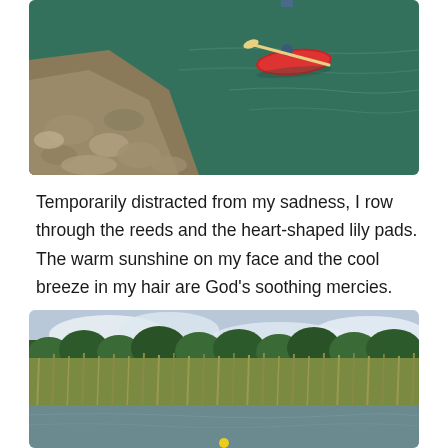[Figure (photo): Aerial view of a person kayaking in a red kayak near a rocky shoreline on a lake with green-blue water]
Temporarily distracted from my sadness, I row through the reeds and the heart-shaped lily pads. The warm sunshine on my face and the cool breeze in my hair are God’s soothing mercies.
[Figure (photo): Photo of tall marsh reeds and grasses along a calm waterway with trees in the background and cloudy sky]